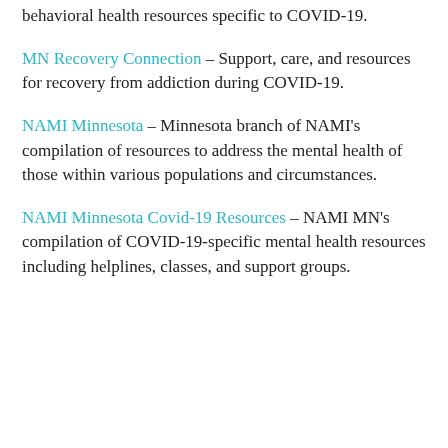behavioral health resources specific to COVID-19.
MN Recovery Connection – Support, care, and resources for recovery from addiction during COVID-19.
NAMI Minnesota – Minnesota branch of NAMI's compilation of resources to address the mental health of those within various populations and circumstances.
NAMI Minnesota Covid-19 Resources – NAMI MN's compilation of COVID-19-specific mental health resources including helplines, classes, and support groups.